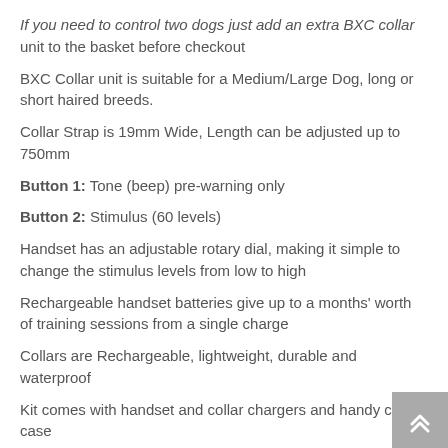If you need to control two dogs just add an extra BXC collar unit to the basket before checkout
BXC Collar unit is suitable for a Medium/Large Dog, long or short haired breeds.
Collar Strap is 19mm Wide, Length can be adjusted up to 750mm
Button 1: Tone (beep) pre-warning only
Button 2: Stimulus (60 levels)
Handset has an adjustable rotary dial, making it simple to change the stimulus levels from low to high
Rechargeable handset batteries give up to a months' worth of training sessions from a single charge
Collars are Rechargeable, lightweight, durable and waterproof
Kit comes with handset and collar chargers and handy carry case